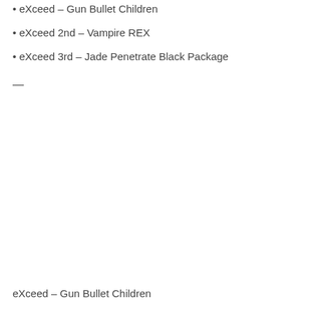• eXceed – Gun Bullet Children
• eXceed 2nd – Vampire REX
• eXceed 3rd – Jade Penetrate Black Package
—
eXceed – Gun Bullet Children